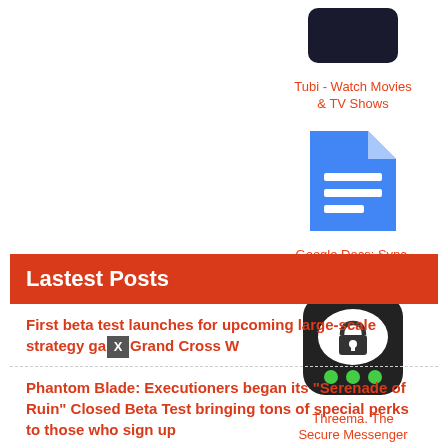[Figure (screenshot): Tubi - Watch Movies & TV Shows app icon (dark rounded rectangle)]
Tubi - Watch Movies & TV Shows
[Figure (screenshot): Google Docs: Sync, Edit, Share app icon (blue document icon with white lines)]
Google Docs: Sync, Edit, Share
[Figure (screenshot): Threema. The Secure Messenger app icon (dark rounded square with lock speech bubble and green dots)]
Threema. The Secure Messenger
Lastest Posts
First beta test launches for upcoming large-scale strategy game Grand Cross W
Phantom Blade: Executioners began its "Serenade of Ruin" Closed Beta Test bringing tons of special perks to those who sign up